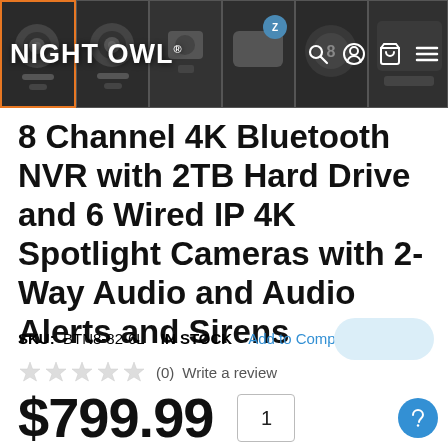NIGHT OWL®
8 Channel 4K Bluetooth NVR with 2TB Hard Drive and 6 Wired IP 4K Spotlight Cameras with 2-Way Audio and Audio Alerts and Sirens
SKU: BTN8-82-6L   IN STOCK   Add to Compare
★★★★★ (0)  Write a review
$799.99   1